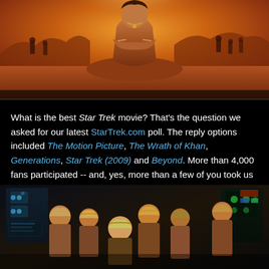[Figure (photo): Illustrated/painted image of a muscular warrior figure with arms crossed, set against an orange/red desert landscape background with hooded figures in the distance — appears to be movie artwork for Star Trek II: The Wrath of Khan.]
What is the best Star Trek movie? That's the question we asked for our latest StarTrek.com poll. The reply options included The Motion Picture, The Wrath of Khan, Generations, Star Trek (2009) and Beyond. More than 4,000 fans participated -- and, yes, more than a few of you took us to task for not including First Contact or The Voyage Home as options -- and here are the results:
[Figure (photo): Film still from Star Trek II: The Wrath of Khan showing a group of characters in costume on the bridge of a starship, including Khan and his followers in tribal/warrior-style clothing.]